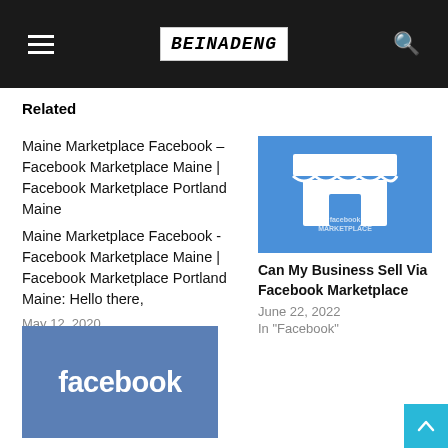BEINADENG (logo/site header)
Related
Maine Marketplace Facebook – Facebook Marketplace Maine | Facebook Marketplace Portland Maine
Maine Marketplace Facebook - Facebook Marketplace Maine | Facebook Marketplace Portland Maine: Hello there,
May 12, 2020
In "facebook marketplace"
[Figure (illustration): Facebook Marketplace logo: white store/shop icon on blue background with text 'Facebook MARKETPLACE']
Can My Business Sell Via Facebook Marketplace
June 22, 2022
In "Facebook"
[Figure (logo): Facebook logo: white lowercase 'facebook' text on blue-grey background]